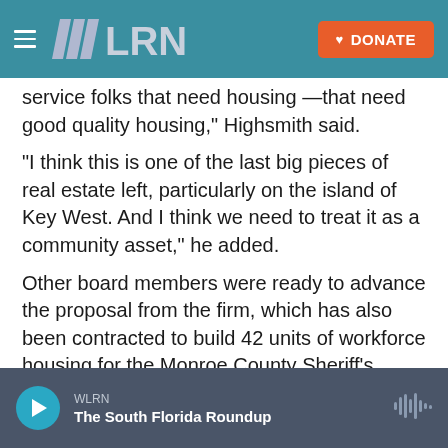WLRN | DONATE
service folks that need housing —that need good quality housing,” Highsmith said.
“I think this is one of the last big pieces of real estate left, particularly on the island of Key West. And I think we need to treat it as a community asset,” he added.
Other board members were ready to advance the proposal from the firm, which has also been contracted to build 42 units of workforce housing for the Monroe County Sheriff’s Office.
WLRN | The South Florida Roundup